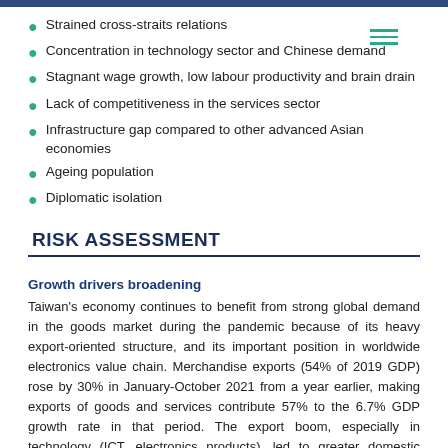Strained cross-straits relations
Concentration in technology sector and Chinese demand
Stagnant wage growth, low labour productivity and brain drain
Lack of competitiveness in the services sector
Infrastructure gap compared to other advanced Asian economies
Ageing population
Diplomatic isolation
RISK ASSESSMENT
Growth drivers broadening
Taiwan's economy continues to benefit from strong global demand in the goods market during the pandemic because of its heavy export-oriented structure, and its important position in worldwide electronics value chain. Merchandise exports (54% of 2019 GDP) rose by 30% in January-October 2021 from a year earlier, making exports of goods and services contribute 57% to the 6.7% GDP growth rate in that period. The export boom, especially in technology (ICT, electronics products), led to greater domestic investment in manufacturing capacity, expansion, replacement and productivity. Gross capital investment rose by 20% in the first three quarters of 2021.
We expect Taiwan to maintain a strong pace of export growth in 2022, albeit slower than in 2021, which will continue to support investment. However, the extent to which Taiwan's technology exports can increase may be constrained by a protracted tightness in supply conditions as